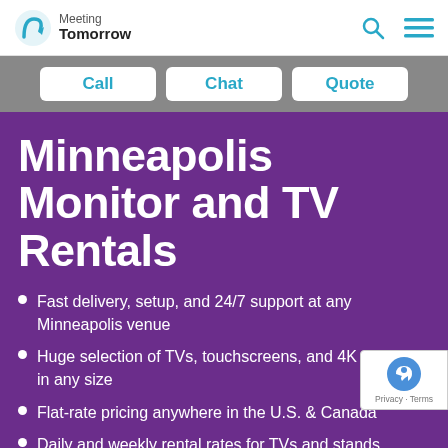Meeting Tomorrow
Call | Chat | Quote
Minneapolis Monitor and TV Rentals
Fast delivery, setup, and 24/7 support at any Minneapolis venue
Huge selection of TVs, touchscreens, and 4K monitors in any size
Flat-rate pricing anywhere in the U.S. & Canada
Daily and weekly rental rates for TVs and stands
Best Price Guarantee